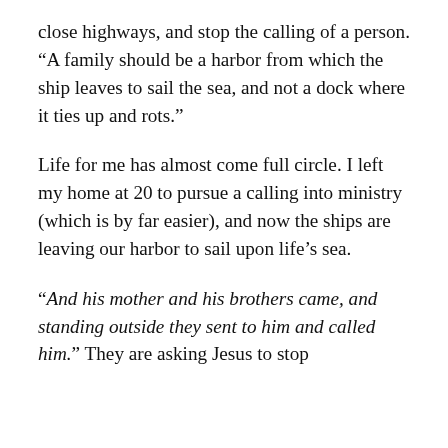close highways, and stop the calling of a person. “A family should be a harbor from which the ship leaves to sail the sea, and not a dock where it ties up and rots.”
Life for me has almost come full circle. I left my home at 20 to pursue a calling into ministry (which is by far easier), and now the ships are leaving our harbor to sail upon life’s sea.
“And his mother and his brothers came, and standing outside they sent to him and called him.” They are asking Jesus to stop